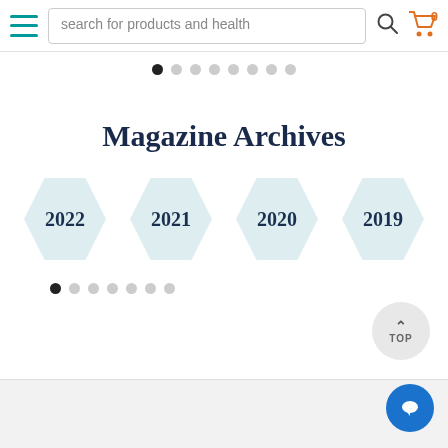search for products and health
[Figure (infographic): Carousel pagination dots — 1 black dot followed by 7 grey dots]
Magazine Archives
[Figure (infographic): Four hexagonal buttons labeled 2022, 2021, 2020, 2019 in light teal color]
[Figure (infographic): Carousel pagination dots at bottom — 1 black dot followed by 6 grey dots]
[Figure (infographic): TOP scroll-to-top button (circular, grey)]
[Figure (infographic): Blue circular chat/message button in bottom right corner]